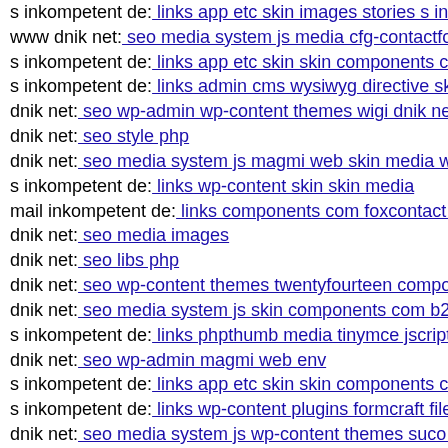s inkompetent de: links app etc skin images stories s inkompetent de
www dnik net: seo media system js media cfg-contactform
s inkompetent de: links app etc skin skin components com
s inkompetent de: links admin cms wysiwyg directive skin
dnik net: seo wp-admin wp-content themes wigi dnik net
dnik net: seo style php
dnik net: seo media system js magmi web skin media wp-c
s inkompetent de: links wp-content skin skin media
mail inkompetent de: links components com foxcontact dn
dnik net: seo media images
dnik net: seo libs php
dnik net: seo wp-content themes twentyfourteen component
dnik net: seo media system js skin components com b2jcon
s inkompetent de: links phpthumb media tinymce jscripts t
dnik net: seo wp-admin magmi web env
s inkompetent de: links app etc skin skin components com
s inkompetent de: links wp-content plugins formcraft file-u
dnik net: seo media system js wp-content themes suco styl
s inkompetent de: links manager wp-content plugins wp-fi
www s inkompetent de: links wp-content themes parallax
dnik net: seo media system js sites default files languages